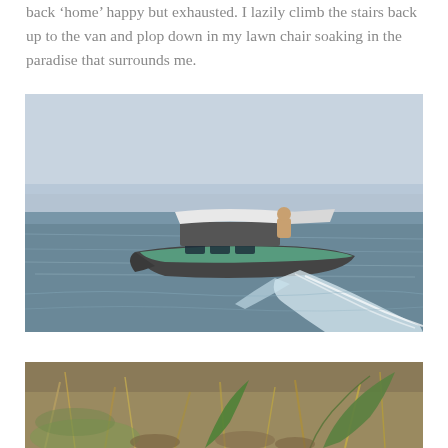back ‘home’ happy but exhausted. I lazily climb the stairs back up to the van and plop down in my lawn chair soaking in the paradise that surrounds me.
[Figure (photo): A motorboat with a white canopy top and green hull trim moving through choppy open water, leaving a white wake behind it. The sky is hazy and pale blue-grey.]
[Figure (photo): Close-up ground-level view of dry grass, leaves, and green plant shoots emerging from the ground.]